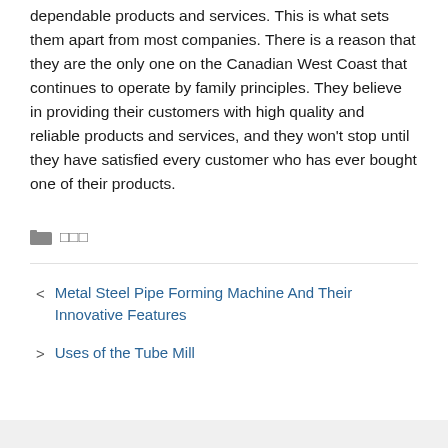dependable products and services. This is what sets them apart from most companies. There is a reason that they are the only one on the Canadian West Coast that continues to operate by family principles. They believe in providing their customers with high quality and reliable products and services, and they won't stop until they have satisfied every customer who has ever bought one of their products.
□□□
< Metal Steel Pipe Forming Machine And Their Innovative Features
> Uses of the Tube Mill